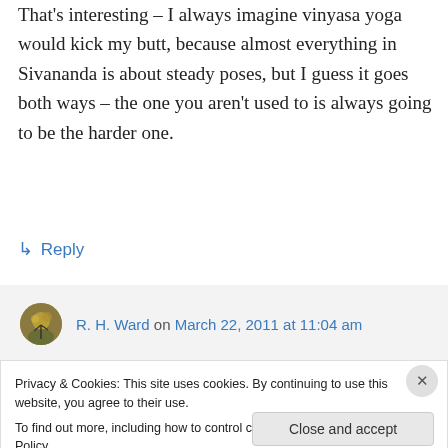That's interesting – I always imagine vinyasa yoga would kick my butt, because almost everything in Sivananda is about steady poses, but I guess it goes both ways – the one you aren't used to is always going to be the harder one.
↳ Reply
R. H. Ward on March 22, 2011 at 11:04 am
Privacy & Cookies: This site uses cookies. By continuing to use this website, you agree to their use.
To find out more, including how to control cookies, see here: Cookie Policy
Close and accept